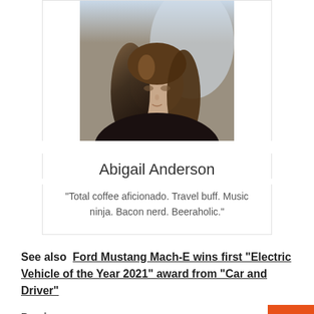[Figure (photo): Profile photo of a woman with long dark hair looking downward, wearing dark clothing]
Abigail Anderson
"Total coffee aficionado. Travel buff. Music ninja. Bacon nerd. Beeraholic."
See also  Ford Mustang Mach-E wins first "Electric Vehicle of the Year 2021" award from "Car and Driver"
Previous
The superconductor ASG with HZDR combines
Bitpanda launches today with "Bitpanda Stocks"